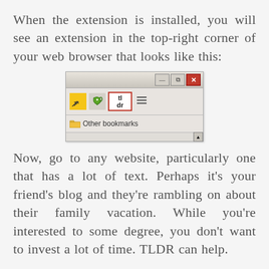When the extension is installed, you will see an extension in the top-right corner of your web browser that looks like this:
[Figure (screenshot): A browser toolbar screenshot showing the TLDR extension icon (with red border), an Evernote icon, a yellow icon, and a hamburger menu icon. Below shows 'Other bookmarks' in a bookmarks bar. The title bar shows minimize, restore, and close (red X) buttons.]
Now, go to any website, particularly one that has a lot of text. Perhaps it’s your friend’s blog and they’re rambling on about their family vacation. While you’re interested to some degree, you don’t want to invest a lot of time. TLDR can help.
For this demonstration, I’m going to use an